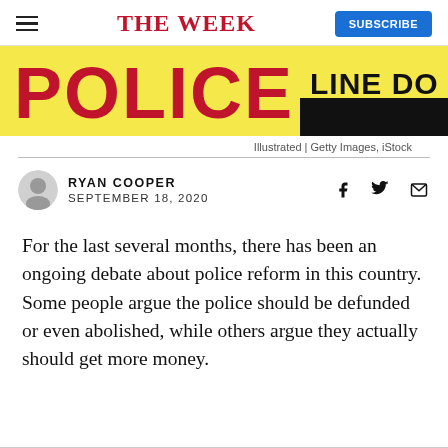THE WEEK
[Figure (photo): Close-up of a yellow police line tape with red text reading POLICE LINE DO NOT CROSS]
Illustrated | Getty Images, iStock
RYAN COOPER
SEPTEMBER 18, 2020
For the last several months, there has been an ongoing debate about police reform in this country. Some people argue the police should be defunded or even abolished, while others argue they actually should get more money.